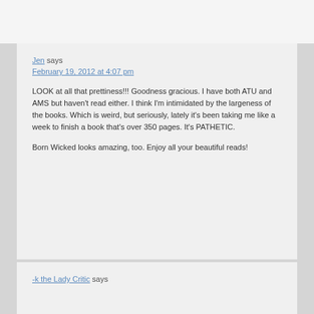Jen says
February 19, 2012 at 4:07 pm

LOOK at all that prettiness!!! Goodness gracious. I have both ATU and AMS but haven't read either. I think I'm intimidated by the largeness of the books. Which is weird, but seriously, lately it's been taking me like a week to finish a book that's over 350 pages. It's PATHETIC.

Born Wicked looks amazing, too. Enjoy all your beautiful reads!
-k the Lady Critic says